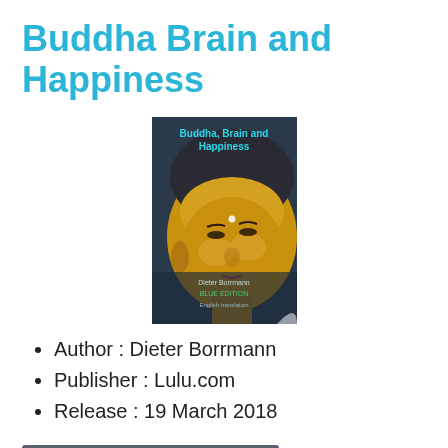Buddha Brain and Happiness
[Figure (illustration): Book cover of 'Buddha, Brain and Happiness' showing a golden Buddha statue face with the book title in cyan text at the top and author/edition info at the bottom.]
Author : Dieter Borrmann
Publisher : Lulu.com
Release : 19 March 2018
GET THIS BOOK →
BUDDHA, BRAIN and HAPPINESS. This is a provocative title, because many people